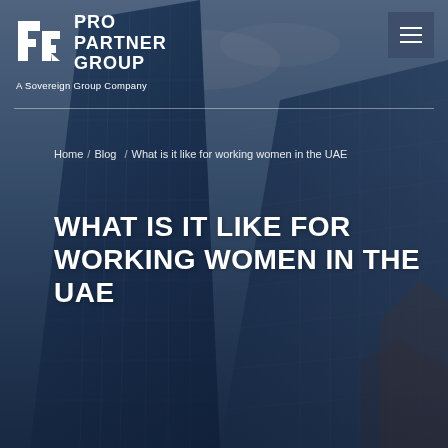[Figure (photo): Hero background image showing glass skyscrapers photographed from below against a blue sky with clouds, with a dark blue/navy overlay tint.]
PRO PARTNER GROUP — A Sovereign Group Company
Home / Blog / What is it like for working women in the UAE
WHAT IS IT LIKE FOR WORKING WOMEN IN THE UAE